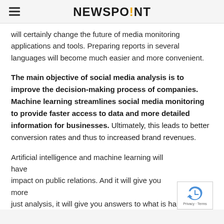NEWSPOINT
will certainly change the future of media monitoring applications and tools. Preparing reports in several languages will become much easier and more convenient.
The main objective of social media analysis is to improve the decision-making process of companies. Machine learning streamlines social media monitoring to provide faster access to data and more detailed information for businesses. Ultimately, this leads to better conversion rates and thus to increased brand revenues.
Artificial intelligence and machine learning will have impact on public relations. And it will give you more just analysis, it will give you answers to what is happening